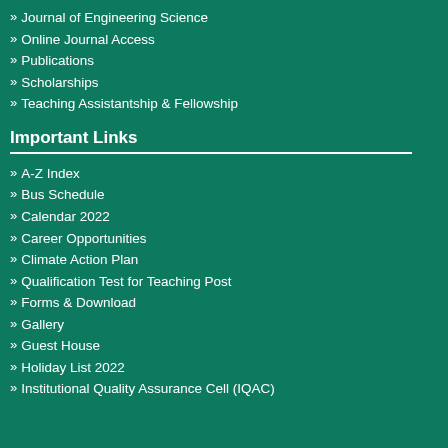Journal of Engineering Science
Online Journal Access
Publications
Scholarships
Teaching Assistantship & Fellowship
Important Links
A-Z Index
Bus Schedule
Calendar 2022
Career Opportunities
Climate Action Plan
Qualification Test for Teaching Post
Forms & Download
Gallery
Guest House
Holiday List 2022
Institutional Quality Assurance Cell (IQAC)